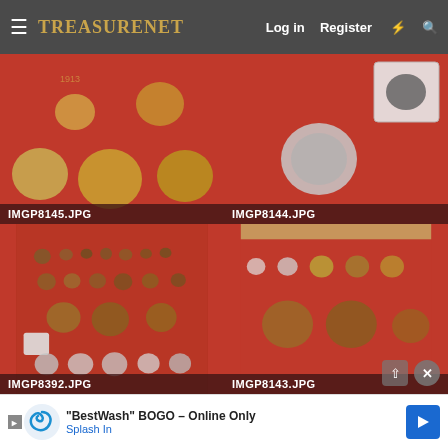TreasureNet — Log in | Register
[Figure (photo): Coins displayed on red velvet background, labeled IMGP8145.JPG]
[Figure (photo): Coins on red velvet with one coin in plastic holder, labeled IMGP8144.JPG]
[Figure (photo): Multiple coins arranged in rows on red velvet display board, labeled IMGP8392.JPG]
[Figure (photo): Coins on red velvet background with wooden frame visible, labeled IMGP8143.JPG]
[Figure (screenshot): Advertisement banner: BestWash BOGO – Online Only, Splash In]